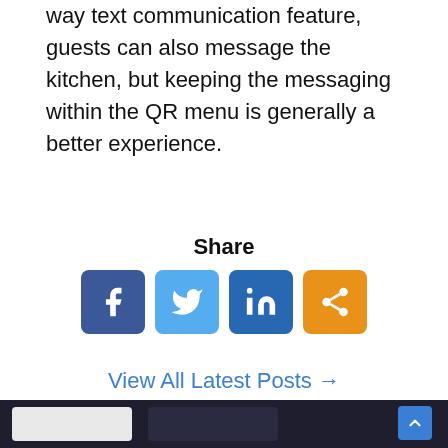way text communication feature, guests can also message the kitchen, but keeping the messaging within the QR menu is generally a better experience.
Share
[Figure (infographic): Social share buttons: Facebook (blue), Twitter (light blue), LinkedIn (dark blue), Share (orange)]
View All Latest Posts →
[Figure (screenshot): Dark background banner showing POS/tablet software screenshots with a scroll-to-top button]